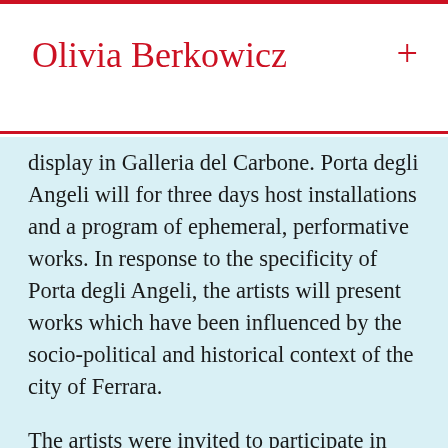Olivia Berkowicz
display in Galleria del Carbone. Porta degli Angeli will for three days host installations and a program of ephemeral, performative works. In response to the specificity of Porta degli Angeli, the artists will present works which have been influenced by the socio-political and historical context of the city of Ferrara.
The artists were invited to participate in Ferrara Residency without the requirement to deliver a finished product, and the works on show will include work-in-progress and